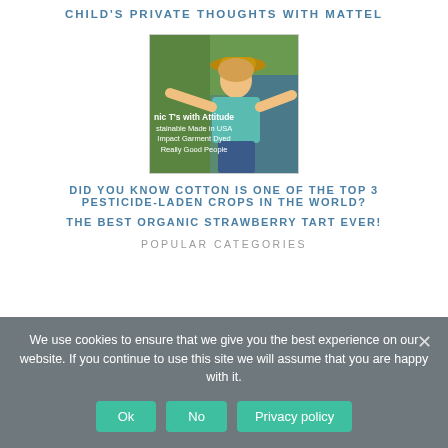CHILD'S PRIVATE THOUGHTS WITH MATTEL
[Figure (photo): Woman wearing a hat and light blue t-shirt, smiling with arms outstretched, outdoors with greenery. Overlay text reads: nic T's with Attitude, stainable Made in USA, Impact Garment Dyed, Really Good People]
DID YOU KNOW COTTON IS ONE OF THE TOP 3 PESTICIDE-LADEN CROPS IN THE WORLD?
THE BEST ORGANIC STRAWBERRY TART EVER!
POPULAR CATEGORIES
We use cookies to ensure that we give you the best experience on our website. If you continue to use this site we will assume that you are happy with it.